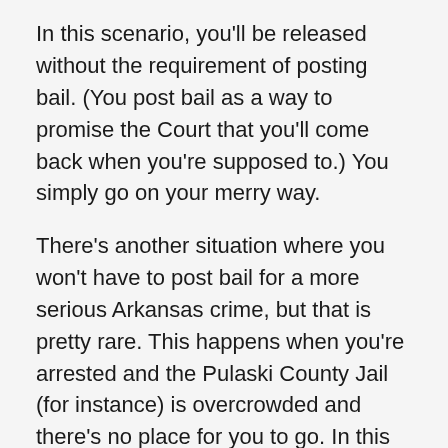In this scenario, you'll be released without the requirement of posting bail. (You post bail as a way to promise the Court that you'll come back when you're supposed to.) You simply go on your merry way.
There's another situation where you won't have to post bail for a more serious Arkansas crime, but that is pretty rare. This happens when you're arrested and the Pulaski County Jail (for instance) is overcrowded and there's no place for you to go. In this situation, you will be arrested, taken to the Pulaski County Sheriff's Office